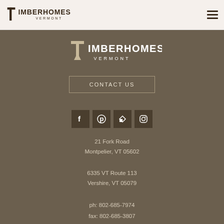TIMBERHOMES VERMONT
[Figure (logo): TimberHomes Vermont logo in white on brown background]
CONTACT US
[Figure (infographic): Social media icons: Facebook, Pinterest, Houzz, Instagram]
21 Fork Road
Montpelier, VT 05602
6335 VT Route 113
Vershire, VT 05079
ph: 802-685-7974
fax: 802-685-3807